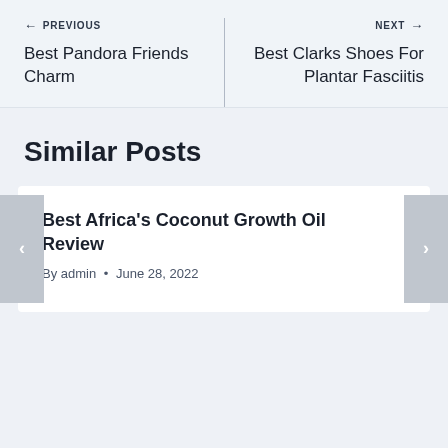← PREVIOUS
Best Pandora Friends Charm
NEXT →
Best Clarks Shoes For Plantar Fasciitis
Similar Posts
Best Africa's Coconut Growth Oil Review
By admin • June 28, 2022